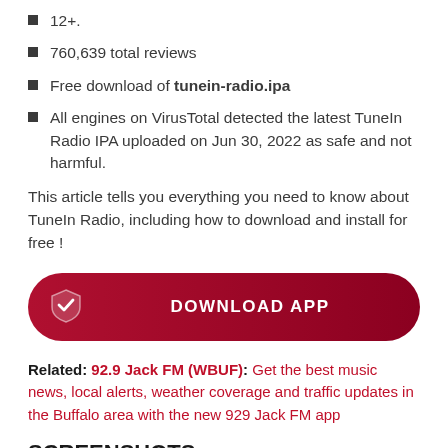12+.
760,639 total reviews
Free download of tunein-radio.ipa
All engines on VirusTotal detected the latest TuneIn Radio IPA uploaded on Jun 30, 2022 as safe and not harmful.
This article tells you everything you need to know about TuneIn Radio, including how to download and install for free !
[Figure (other): Download App button with shield/checkmark icon, dark red gradient background, white bold text reading DOWNLOAD APP]
Related: 92.9 Jack FM (WBUF): Get the best music news, local alerts, weather coverage and traffic updates in the Buffalo area with the new 929 Jack FM app
SCREENSHOTS